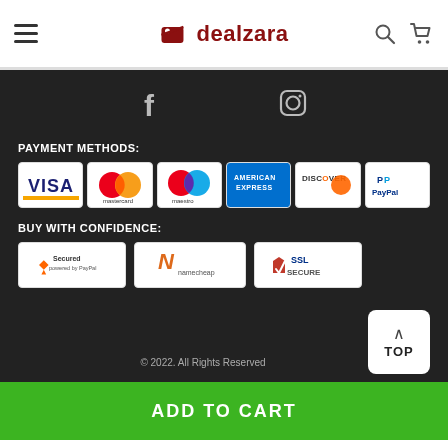dealzara
[Figure (logo): Facebook icon in footer dark section]
[Figure (logo): Instagram icon in footer dark section]
PAYMENT METHODS:
[Figure (infographic): Payment method logos: Visa, Mastercard, Maestro, American Express, Discover, PayPal]
BUY WITH CONFIDENCE:
[Figure (infographic): Trust badges: Secured (PayPal), Namecheap, SSL Secure]
© 2022. All Rights Reserved
TOP
ADD TO CART